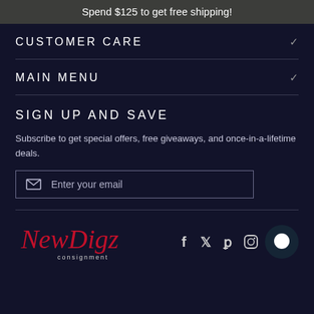Spend $125 to get free shipping!
CUSTOMER CARE
MAIN MENU
SIGN UP AND SAVE
Subscribe to get special offers, free giveaways, and once-in-a-lifetime deals.
Enter your email
[Figure (logo): New Digz Consignment cursive logo in red and white]
[Figure (infographic): Social media icons: Facebook, Twitter, Pinterest, Instagram, and a chat bubble icon]